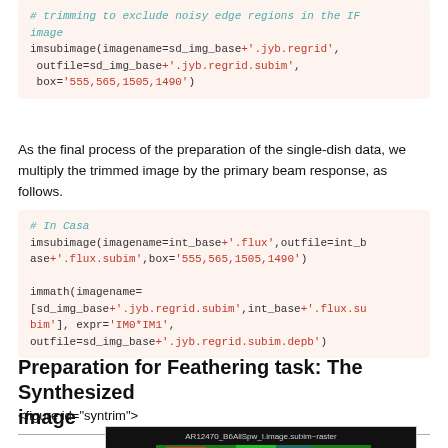[Figure (screenshot): Code block showing imsubimage call with sd_img_base+'.jyb.regrid' and box='555,565,1505,1490', with comment about trimming to exclude noisy edge regions in the IF image]
As the final process of the preparation of the single-dish data, we multiply the trimmed image by the primary beam response, as follows.
[Figure (screenshot): Code block in Casa: imsubimage call with int_base+'.flux' and box, then immath call with imagename list and expr='IM0*IM1', outfile=sd_img_base+'.jyb.regrid.subim.depb']
Preparation for Feathering task: The Synthesized image
<figure id="syntrim">
[Figure (screenshot): Astronomical image showing AR12470_B6AllSpw_I.image.subim~raster, a colorful false-color radio image with red, green, blue regions visible, with axis labels around -30 and -45 degrees]